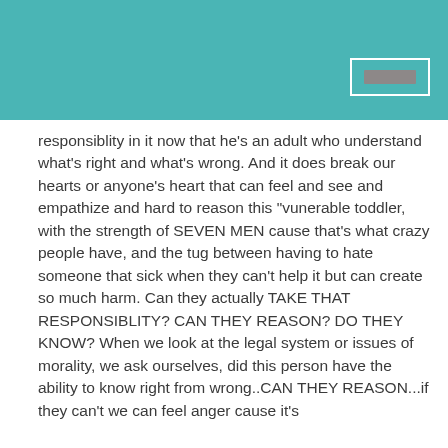responsiblity in it now that he's an adult who understand what's right and what's wrong. And it does break our hearts or anyone's heart that can feel and see and empathize and hard to reason this "vunerable toddler, with the strength of SEVEN MEN cause that's what crazy people have, and the tug between having to hate someone that sick when they can't help it but can create so much harm. Can they actually TAKE THAT RESPONSIBLITY? CAN THEY REASON? DO THEY KNOW? When we look at the legal system or issues of morality, we ask ourselves, did this person have the ability to know right from wrong..CAN THEY REASON...if they can't we can feel anger cause it's